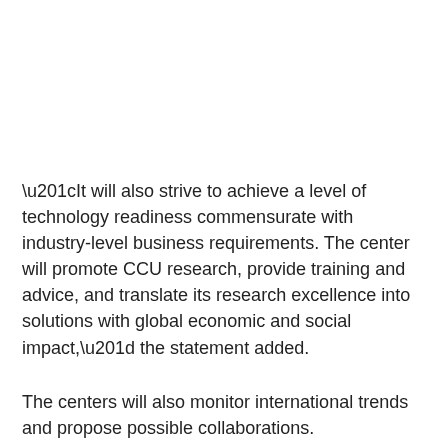“It will also strive to achieve a level of technology readiness commensurate with industry-level business requirements. The center will promote CCU research, provide training and advice, and translate its research excellence into solutions with global economic and social impact,” the statement added.
The centers will also monitor international trends and propose possible collaborations.
Related Posts:
UN report warns of serious repercussions if global warming continues